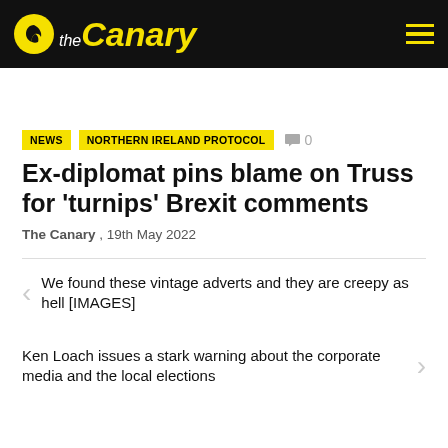the Canary
NEWS  NORTHERN IRELAND PROTOCOL  0
Ex-diplomat pins blame on Truss for 'turnips' Brexit comments
The Canary , 19th May 2022
We found these vintage adverts and they are creepy as hell [IMAGES]
Ken Loach issues a stark warning about the corporate media and the local elections